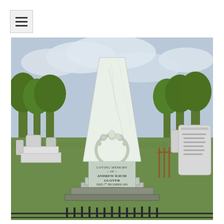[Figure (photo): Photograph of a tall white marble obelisk gravestone in a cemetery. The gravestone has a floral wreath carving and an inscription reading 'Loving Memory of Andrew David Glover Died 1st December 1909 After two days illness aged 49 years.' Multiple other headstones and green trees visible in the background under a cloudy sky.]